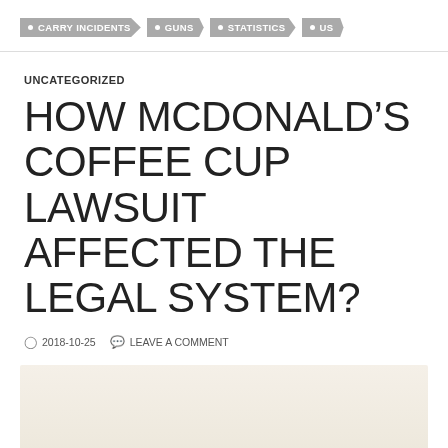CARRY INCIDENTS • GUNS • STATISTICS • US
UNCATEGORIZED
HOW MCDONALD'S COFFEE CUP LAWSUIT AFFECTED THE LEGAL SYSTEM?
2018-10-25   LEAVE A COMMENT
[Figure (photo): Partial image visible at bottom of page, warm beige/cream tones]